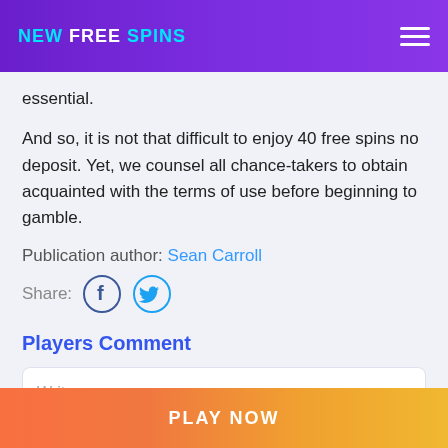NEW FREE SPINS
essential.
And so, it is not that difficult to enjoy 40 free spins no deposit. Yet, we counsel all chance-takers to obtain acquainted with the terms of use before beginning to gamble.
Publication author: Sean Carroll
Share:
Players Comment
Write your message
PLAY NOW